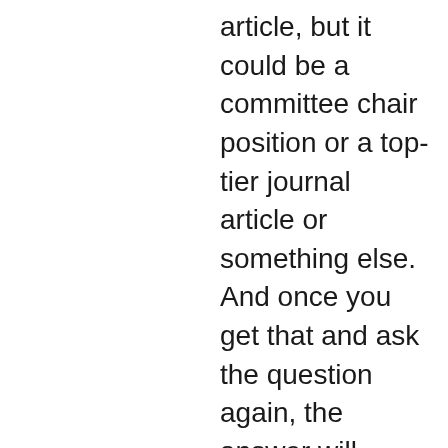article, but it could be a committee chair position or a top-tier journal article or something else. And once you get that and ask the question again, the answer will